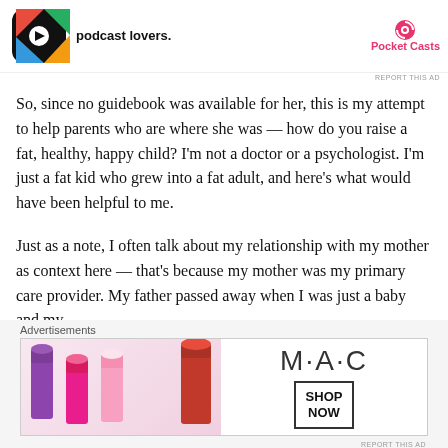[Figure (screenshot): Top advertisement banner for Pocket Casts podcast app with colorful app icon and text 'podcast lovers.' with Pocket Casts logo]
So, since no guidebook was available for her, this is my attempt to help parents who are where she was — how do you raise a fat, healthy, happy child? I'm not a doctor or a psychologist. I'm just a fat kid who grew into a fat adult, and here's what would have been helpful to me.
Just as a note, I often talk about my relationship with my mother as context here — that's because my mother was my primary care provider. My father passed away when I was just a baby and my
[Figure (screenshot): Bottom advertisement for MAC cosmetics showing lipsticks in purple, pink, and red shades with MAC logo and SHOP NOW button]